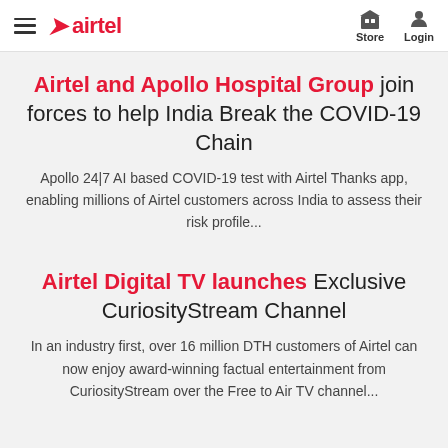airtel — Store | Login
Airtel and Apollo Hospital Group join forces to help India Break the COVID-19 Chain
Apollo 24|7 AI based COVID-19 test with Airtel Thanks app, enabling millions of Airtel customers across India to assess their risk profile...
Airtel Digital TV launches Exclusive CuriosityStream Channel
In an industry first, over 16 million DTH customers of Airtel can now enjoy award-winning factual entertainment from CuriosityStream over the Free to Air TV channel...